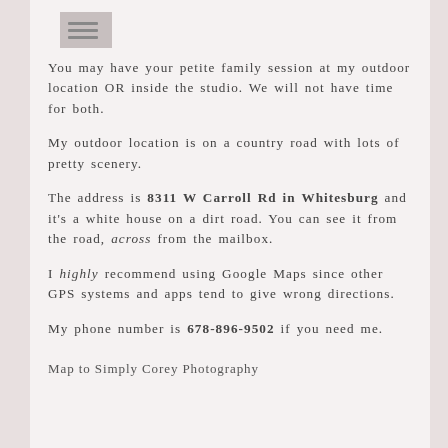You may have your petite family session at my outdoor location OR inside the studio. We will not have time for both.
My outdoor location is on a country road with lots of pretty scenery.
The address is 8311 W Carroll Rd in Whitesburg and it's a white house on a dirt road. You can see it from the road, across from the mailbox.
I highly recommend using Google Maps since other GPS systems and apps tend to give wrong directions.
My phone number is 678-896-9502 if you need me.
Map to Simply Corey Photography